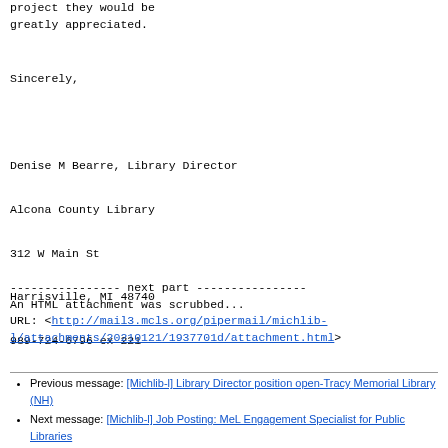project they would be greatly appreciated.
Sincerely,
Denise M Bearre, Library Director
Alcona County Library
312 W Main St
Harrisville, MI 48740
989-724-6796 ex 221
---------------- next part ----------------
An HTML attachment was scrubbed...
URL: <http://mail3.mcls.org/pipermail/michlib-l/attachments/20210121/1937701d/attachment.html>
Previous message: [Michlib-l] Library Director position open-Tracy Memorial Library (NH)
Next message: [Michlib-l] Job Posting: MeL Engagement Specialist for Public Libraries
Messages sorted by: [ date ] [ thread ] [ subject ] [ author ]